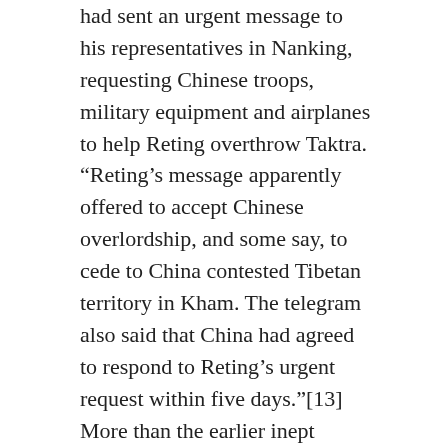had sent an urgent message to his representatives in Nanking, requesting Chinese troops, military equipment and airplanes to help Reting overthrow Taktra. "Reting's message apparently offered to accept Chinese overlordship, and some say, to cede to China contested Tibetan territory in Kham. The telegram also said that China had agreed to respond to Reting's urgent request within five days."[13] More than the earlier inept bomb-plot that everyone has heard or read about, this telegram propelled the Kashag to finally take action against the conspirators and the Reting Rinpoche himself.
Earlier that year (around the Losar celebrations of 1947) the Dalai Lama's father passed away after a long illness. Of course, the Dalai Lama's own